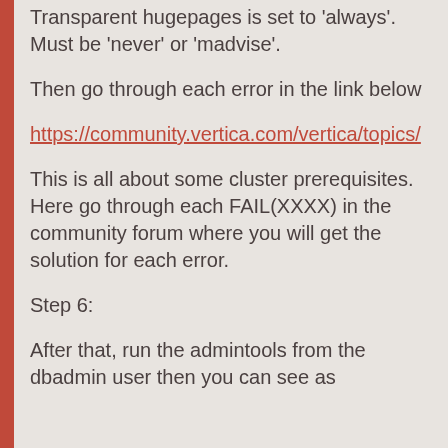Transparent hugepages is set to 'always'. Must be 'never' or 'madvise'.
Then go through each error in the link below
https://community.vertica.com/vertica/topics/
This is all about some cluster prerequisites. Here go through each FAIL(XXXX) in the community forum where you will get the solution for each error.
Step 6:
After that, run the admintools from the dbadmin user then you can see as